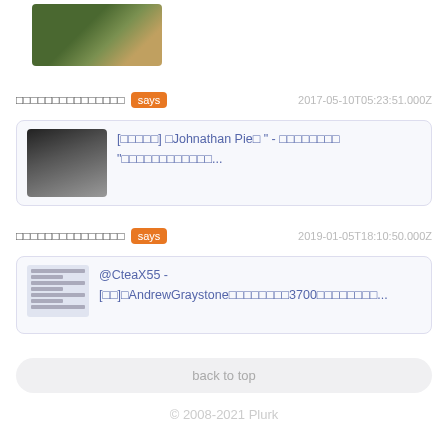[Figure (photo): Thumbnail image showing people at an event, green and brown tones]
□□□□□□□□□□□□□□□ says   2017-05-10T05:23:51.000Z
[Figure (screenshot): Card with thumbnail of man in suit and link text: [□□□□□] □Johnathan Pie□ " - □□□□□□□□ "□□□□□□□□□□□□...]
□□□□□□□□□□□□□□□ says   2019-01-05T18:10:50.000Z
[Figure (screenshot): Card with document thumbnail and link text: @CteaX55 - [□□]□AndrewGraystone□□□□□□□□3700□□□□□□□□...]
back to top
© 2008-2021 Plurk